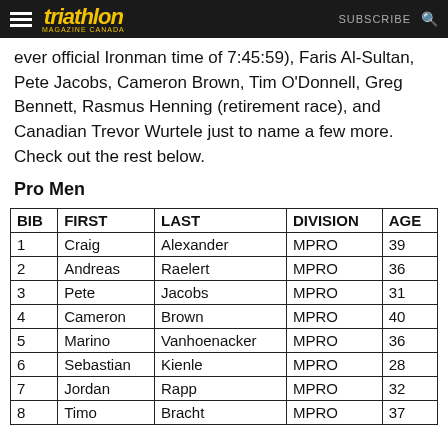triathlon MAGAZINE CANADA  SUBSCRIBE
ever official Ironman time of 7:45:59), Faris Al-Sultan, Pete Jacobs, Cameron Brown, Tim O'Donnell, Greg Bennett, Rasmus Henning (retirement race), and Canadian Trevor Wurtele just to name a few more. Check out the rest below.
Pro Men
| BIB | FIRST | LAST | DIVISION | AGE |
| --- | --- | --- | --- | --- |
| 1 | Craig | Alexander | MPRO | 39 |
| 2 | Andreas | Raelert | MPRO | 36 |
| 3 | Pete | Jacobs | MPRO | 31 |
| 4 | Cameron | Brown | MPRO | 40 |
| 5 | Marino | Vanhoenacker | MPRO | 36 |
| 6 | Sebastian | Kienle | MPRO | 28 |
| 7 | Jordan | Rapp | MPRO | 32 |
| 8 | Timo | Bracht | MPRO | 37 |